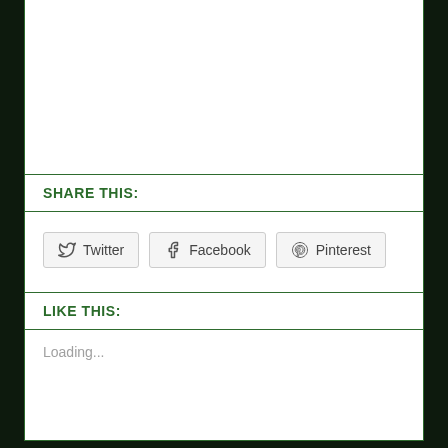SHARE THIS:
Twitter  Facebook  Pinterest
LIKE THIS:
Loading...